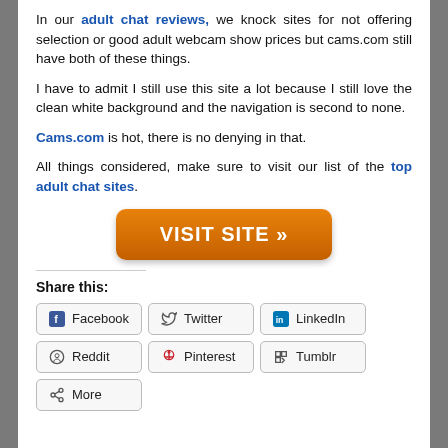In our adult chat reviews, we knock sites for not offering selection or good adult webcam show prices but cams.com still have both of these things.
I have to admit I still use this site a lot because I still love the clean white background and the navigation is second to none.
Cams.com is hot, there is no denying in that.
All things considered, make sure to visit our list of the top adult chat sites.
[Figure (other): Orange rounded rectangle button with text VISIT SITE »]
Share this:
Facebook  Twitter  LinkedIn  Reddit  Pinterest  Tumblr  More